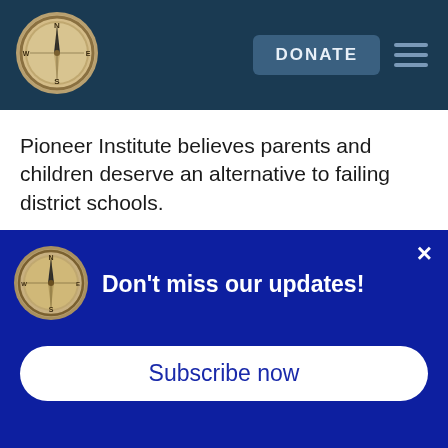[Figure (logo): Compass logo for Pioneer Institute in circular frame, on dark blue header bar]
Pioneer Institute believes parents and children deserve an alternative to failing district schools.
School choice should include a menu of options, including: University partnerships, private management, Commonwealth and Horace Mann public charter schools, pilot schools, vocational
[Figure (logo): Small compass logo in popup overlay]
Don't miss our updates!
Subscribe now